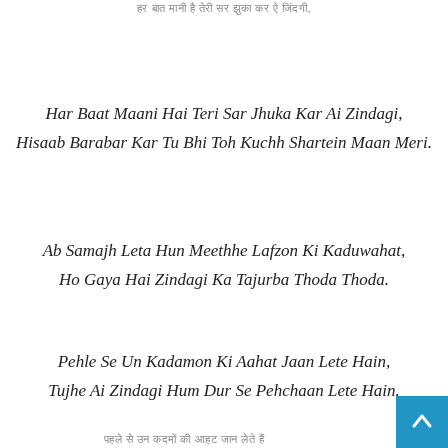हर बात मानी है तेरी सर झुका कर ऐ जिंदगी
Har Baat Maani Hai Teri Sar Jhuka Kar Ai Zindagi,
Hisaab Barabar Kar Tu Bhi Toh Kuchh Shartein Maan Meri.
Ab Samajh Leta Hun Meethhe Lafzon Ki Kaduwahat,
Ho Gaya Hai Zindagi Ka Tajurba Thoda Thoda.
Pehle Se Un Kadamon Ki Aahat Jaan Lete Hain,
Tujhe Ai Zindagi Hum Dur Se Pehchaan Lete Hain.
पहले से उन कदमों की आहट जान लेते हैं